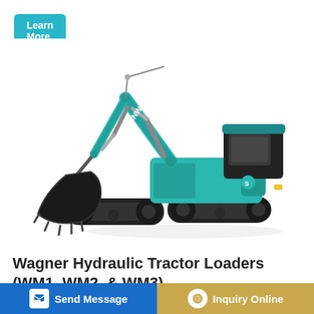Learn More
[Figure (photo): A Sunward brand large hydraulic excavator with teal/green body color, tracked undercarriage, long boom arm with bucket attachment, shown on white background.]
Wagner Hydraulic Tractor Loaders (WM1, WM2, & WM3)
Drain oil from loader after 20 to 30 hours of operation ... assembl ... front axle pin to 7/8" or 1" to allow driveshaft of loader to
Send Message
Inquiry Online